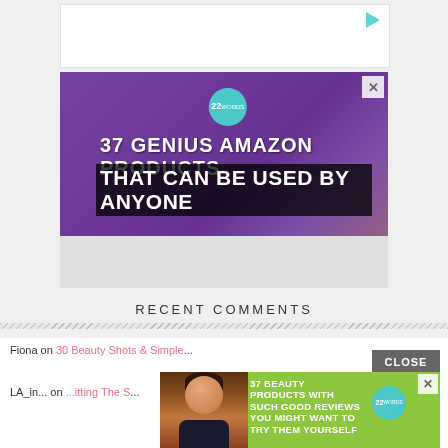[Figure (screenshot): Top white ad banner with play button icon]
[Figure (screenshot): Advertisement banner: 37 GENIUS AMAZON PRODUCTS THAT CAN BE USED BY ANYONE, with purple headphones image and 22 Words badge circle]
RECENT COMMENTS
Fiona on 30 Beauty Shots & Simple...
LA_in... on ...itting The S...
[Figure (screenshot): Popup overlay ad: CLOSE button and 37 BEAUTY PRODUCTS WITH SUCH GOOD REVIEWS YOU MIGHT WANT TO TRY THEM YOURSELF on green background with woman and 22 Words badge]